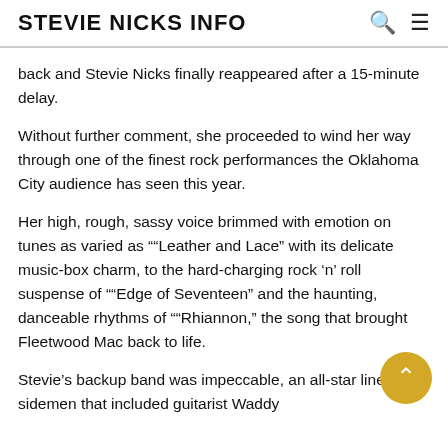STEVIE NICKS INFO
back and Stevie Nicks finally reappeared after a 15-minute delay.
Without further comment, she proceeded to wind her way through one of the finest rock performances the Oklahoma City audience has seen this year.
Her high, rough, sassy voice brimmed with emotion on tunes as varied as "“Leather and Lace” with its delicate music-box charm, to the hard-charging rock ‘n’ roll suspense of "“Edge of Seventeen” and the haunting, danceable rhythms of "“Rhiannon,” the song that brought Fleetwood Mac back to life.
Stevie’s backup band was impeccable, an all-star lineup of sidemen that included guitarist Waddy